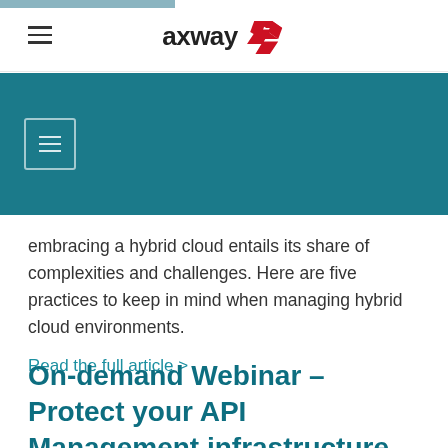axway (logo with hamburger menu)
[Figure (screenshot): Teal/dark cyan navigation banner with hamburger menu icon in a bordered box on the left side]
embracing a hybrid cloud entails its share of complexities and challenges. Here are five practices to keep in mind when managing hybrid cloud environments. Read the full article >
On-demand Webinar – Protect your API Management infrastructure against